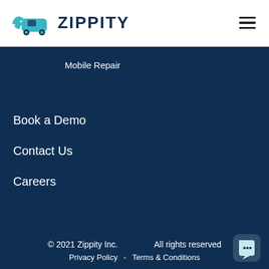[Figure (logo): Zippity logo: teal winged car icon and bold dark blue ZIPPITY text]
Mobile Repair
Book a Demo
Contact Us
Careers
© 2021 Zippity Inc.    All rights reserved
Privacy Policy  -  Terms & Conditions